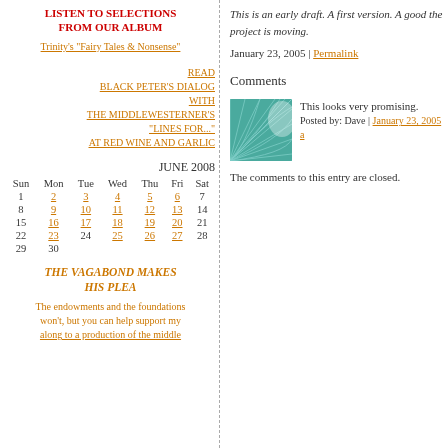LISTEN TO SELECTIONS FROM OUR ALBUM
Trinity's "Fairy Tales & Nonsense"
READ BLACK PETER'S DIALOG WITH THE MIDDLEWESTERNER'S "LINES FOR..." AT RED WINE AND GARLIC
JUNE 2008
| Sun | Mon | Tue | Wed | Thu | Fri | Sat |
| --- | --- | --- | --- | --- | --- | --- |
| 1 | 2 | 3 | 4 | 5 | 6 | 7 |
| 8 | 9 | 10 | 11 | 12 | 13 | 14 |
| 15 | 16 | 17 | 18 | 19 | 20 | 21 |
| 22 | 23 | 24 | 25 | 26 | 27 | 28 |
| 29 | 30 |  |  |  |  |  |
THE VAGABOND MAKES HIS PLEA
The endowments and the foundations won't, but you can help support my
This is an early draft. A first version. A good the project is moving.
January 23, 2005 | Permalink
Comments
[Figure (illustration): Teal/green square avatar image with curved grid pattern]
This looks very promising.
Posted by: Dave | January 23, 2005 a
The comments to this entry are closed.